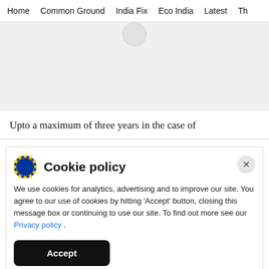Home   Common Ground   India Fix   Eco India   Latest   Th
[Figure (other): Gray placeholder image area with a small circular icon at the top center]
Upto a maximum of three years in the case of
Cookie policy
We use cookies for analytics, advertising and to improve our site. You agree to our use of cookies by hitting 'Accept' button, closing this message box or continuing to use our site. To find out more see our Privacy policy .
Accept